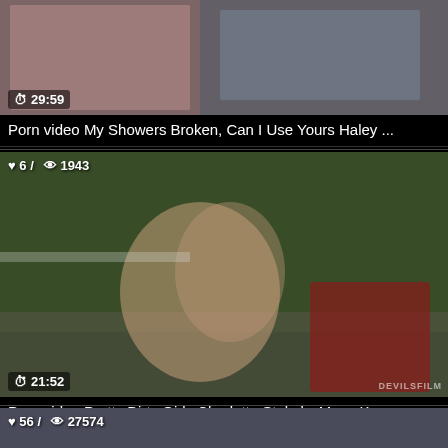[Figure (screenshot): Video thumbnail showing indoor scene, duration 29:59]
Porn video My Showers Broken, Can I Use Yours Haley ...
[Figure (screenshot): Video thumbnail showing outdoor scene with two women, likes: 6, views: 1943, duration 21:52, watermark DEVILSFILM]
Porn video Pretty Dirty Girls Charlotte Stokely, Maya Ken...
[Figure (screenshot): Video thumbnail partially visible, likes: 56, views: 27574]